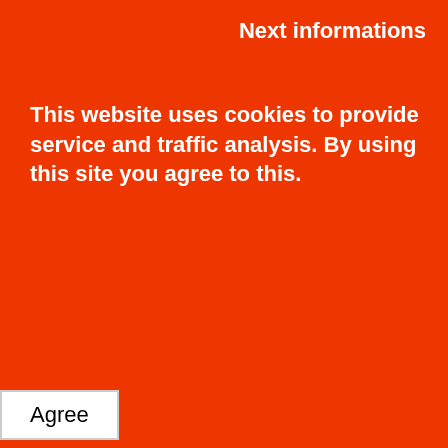Next informations
This website uses cookies to provide service and traffic analysis. By using this site you agree to this.
Agree
[Figure (infographic): Partial view of a network/security system diagram showing IP Cameras, Control, Parking System for the Public, and a license plate reader (KA PA777) panel, on a light green background.]
Using LAN-RING METEL switches and IPLOG-DELTA modules helped to unify the elements of IT and HVAC infrastructure in interior and exterior environments, providing redundancy, increasing reliability, implementation of a unified monitoring and controlling system for multiple security s
Live help is offline...